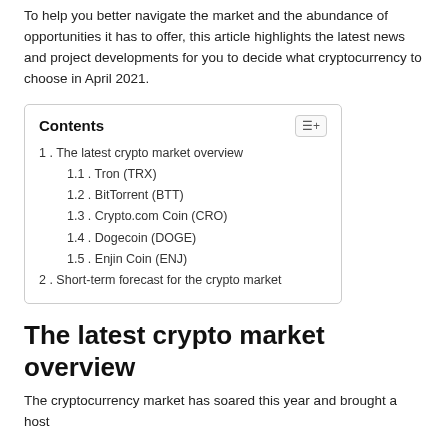To help you better navigate the market and the abundance of opportunities it has to offer, this article highlights the latest news and project developments for you to decide what cryptocurrency to choose in April 2021.
1. The latest crypto market overview
1.1. Tron (TRX)
1.2. BitTorrent (BTT)
1.3. Crypto.com Coin (CRO)
1.4. Dogecoin (DOGE)
1.5. Enjin Coin (ENJ)
2. Short-term forecast for the crypto market
The latest crypto market overview
The cryptocurrency market has soared this year and brought a host